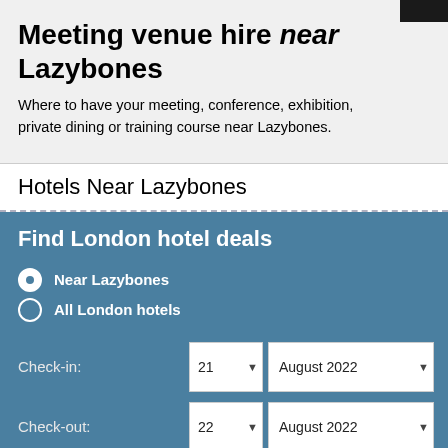Meeting venue hire near Lazybones
Where to have your meeting, conference, exhibition, private dining or training course near Lazybones.
Hotels Near Lazybones
Find London hotel deals
Near Lazybones (selected)
All London hotels
Check-in: 21 ▼  August 2022 ▼
Check-out: 22 ▼  August 2022 ▼
Number of rooms: 1 room ▼